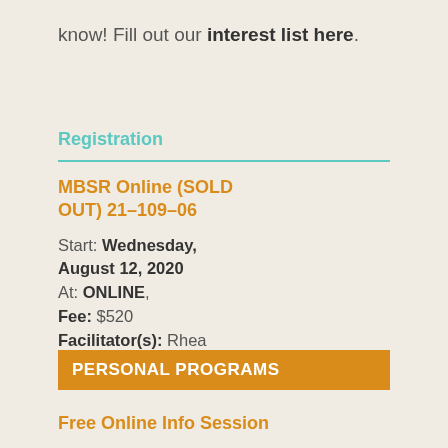know! Fill out our interest list here.
Registration
MBSR Online (SOLD OUT) 21–109–06
Start: Wednesday, August 12, 2020
At: ONLINE,
Fee: $520
Facilitator(s): Rhea Plosker RSW
PERSONAL PROGRAMS
Free Online Info Session